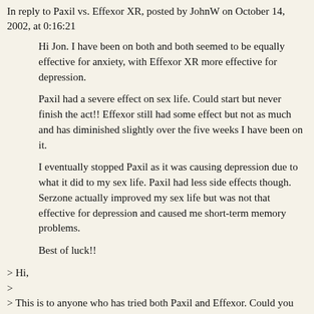In reply to Paxil vs. Effexor XR, posted by JohnW on October 14, 2002, at 0:16:21
Hi Jon. I have been on both and both seemed to be equally effective for anxiety, with Effexor XR more effective for depression.
Paxil had a severe effect on sex life. Could start but never finish the act!! Effexor still had some effect but not as much and has diminished slightly over the five weeks I have been on it.
I eventually stopped Paxil as it was causing depression due to what it did to my sex life. Paxil had less side effects though. Serzone actually improved my sex life but was not that effective for depression and caused me short-term memory problems.
Best of luck!!
> Hi,
>
> This is to anyone who has tried both Paxil and Effexor. Could you compare these two meds for depression and anxiety? What was your experience? Which had more of an impact on your sexual